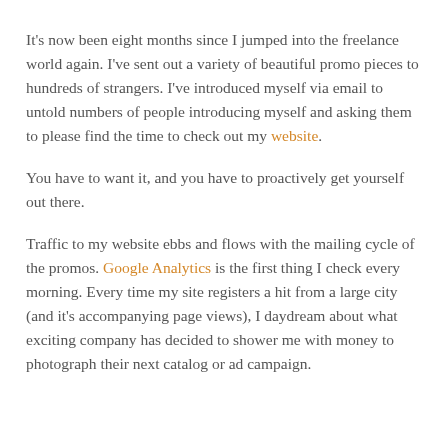It's now been eight months since I jumped into the freelance world again. I've sent out a variety of beautiful promo pieces to hundreds of strangers. I've introduced myself via email to untold numbers of people introducing myself and asking them to please find the time to check out my website.
You have to want it, and you have to proactively get yourself out there.
Traffic to my website ebbs and flows with the mailing cycle of the promos. Google Analytics is the first thing I check every morning. Every time my site registers a hit from a large city (and it's accompanying page views), I daydream about what exciting company has decided to shower me with money to photograph their next catalog or ad campaign.